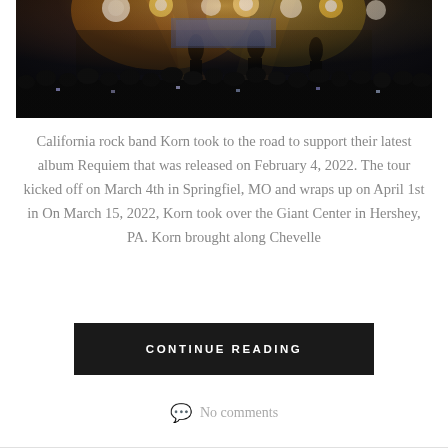[Figure (photo): Concert photo showing a crowd silhouetted against bright stage lights and performers on stage in a dark venue]
California rock band Korn took to the road to support their latest album Requiem that was released on February 4, 2022. The tour kicked off on March 4th in Springfiel, MO and wraps up on April 1st in On March 15, 2022, Korn took over the Giant Center in Hershey, PA. Korn brought along Chevelle
CONTINUE READING
No comments